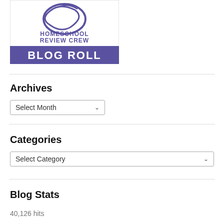[Figure (logo): Homeschool Review Crew Blog Roll logo — stylized circular graphic at top, text 'HOMESCHOOL REVIEW CREW' in purple, 'BLOG ROLL' in white on purple banner]
Archives
Select Month
Categories
Select Category
Blog Stats
40,126 hits